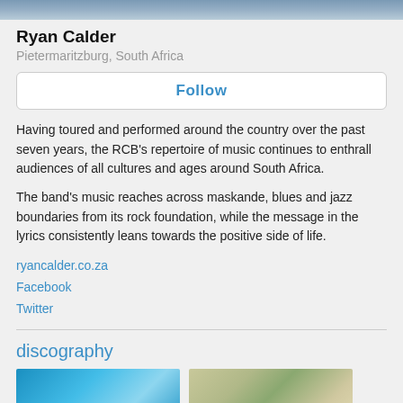[Figure (photo): Top banner photo — aerial or nature scene, blue-grey tones]
Ryan Calder
Pietermaritzburg, South Africa
Follow
Having toured and performed around the country over the past seven years, the RCB's repertoire of music continues to enthrall audiences of all cultures and ages around South Africa.
The band's music reaches across maskande, blues and jazz boundaries from its rock foundation, while the message in the lyrics consistently leans towards the positive side of life.
ryancalder.co.za
Facebook
Twitter
discography
[Figure (photo): Album thumbnail 1 — blue/teal abstract background]
[Figure (photo): Album thumbnail 2 — Ryan Calder Band text on blurred outdoor background]